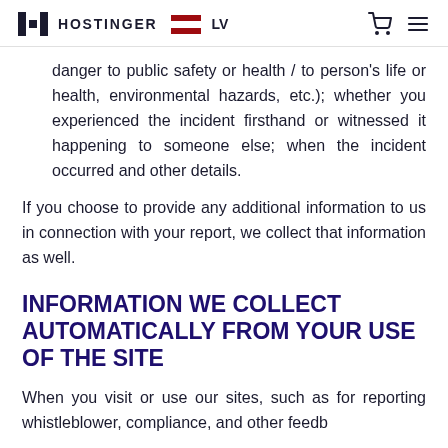HOSTINGER LV
danger to public safety or health / to person's life or health, environmental hazards, etc.); whether you experienced the incident firsthand or witnessed it happening to someone else; when the incident occurred and other details.
If you choose to provide any additional information to us in connection with your report, we collect that information as well.
INFORMATION WE COLLECT AUTOMATICALLY FROM YOUR USE OF THE SITE
When you visit or use our sites, such as for reporting whistleblower, compliance, and other feedb...